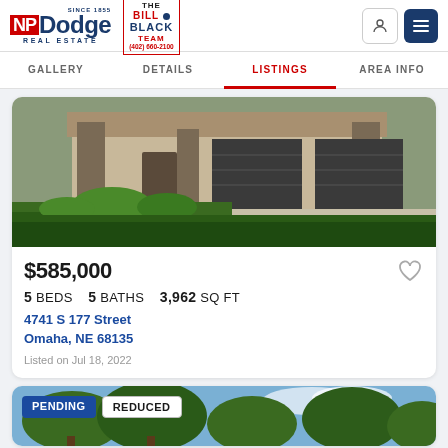NP Dodge Real Estate — Bill Black Team — (402) 660-2100
GALLERY  DETAILS  LISTINGS  AREA INFO
[Figure (photo): Exterior photo of a house with stone columns, dark garage doors, and green lawn]
$585,000
5 BEDS   5 BATHS   3,962 SQ FT
4741 S 177 Street Omaha, NE 68135
Listed on Jul 18, 2022
[Figure (photo): Partial view of second listing with trees against a blue sky; badges: PENDING, REDUCED]